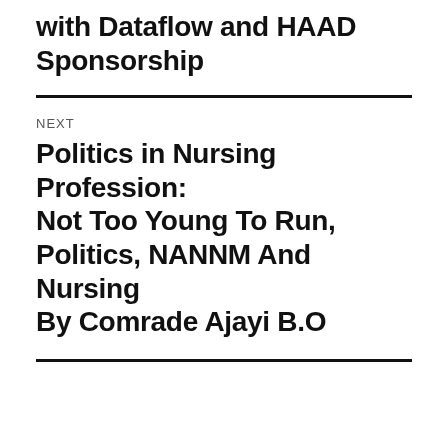with Dataflow and HAAD Sponsorship
NEXT
Politics in Nursing Profession: Not Too Young To Run, Politics, NANNM And Nursing By Comrade Ajayi B.O